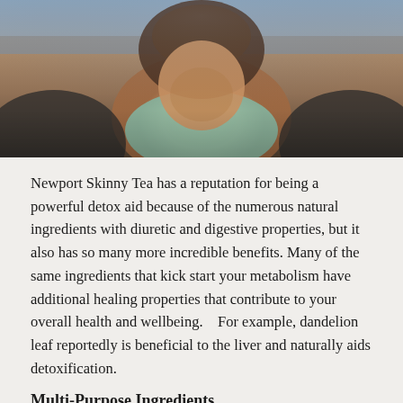[Figure (photo): Photo of a person (woman) leaning forward toward the camera, wearing a mint/teal sports top, with a blurred outdoor background. Shot from above looking slightly down.]
Newport Skinny Tea has a reputation for being a powerful detox aid because of the numerous natural ingredients with diuretic and digestive properties, but it also has so many more incredible benefits. Many of the same ingredients that kick start your metabolism have additional healing properties that contribute to your overall health and wellbeing.   For example, dandelion leaf reportedly is beneficial to the liver and naturally aids detoxification.
Multi-Purpose Ingredients
Puh’er tea was added to the special mix to help decrease the size of your waistline. Another powerful ingredient in Newport Skinny Tea is Sencha green tea. This tea promotes energy by increasing your metabolic